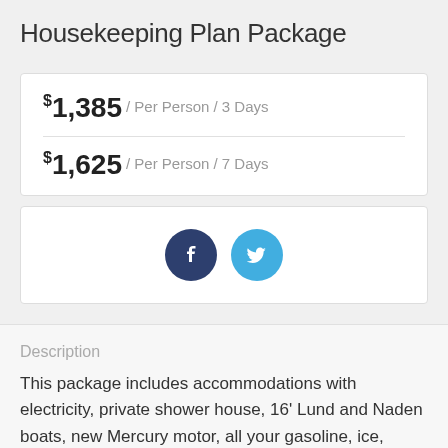Housekeeping Plan Package
$1,385 / Per Person / 3 Days
$1,625 / Per Person / 7 Days
[Figure (other): Social media share buttons: Facebook (dark blue circle with 'f') and Twitter (light blue circle with bird icon)]
Description
This package includes accommodations with electricity, private shower house, 16' Lund and Naden boats, new Mercury motor, all your gasoline, ice, linens and towels and flight to and from base.  Minnow buckets, landing nets, fish